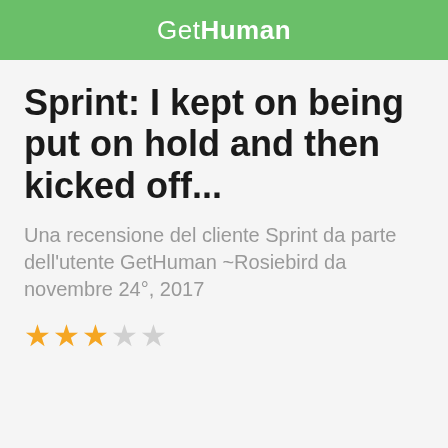GetHuman
Sprint: I kept on being put on hold and then kicked off...
Una recensione del cliente Sprint da parte dell'utente GetHuman ~Rosiebird da novembre 24°, 2017
[Figure (other): 3 out of 5 stars rating shown as gold filled stars and grey empty stars]